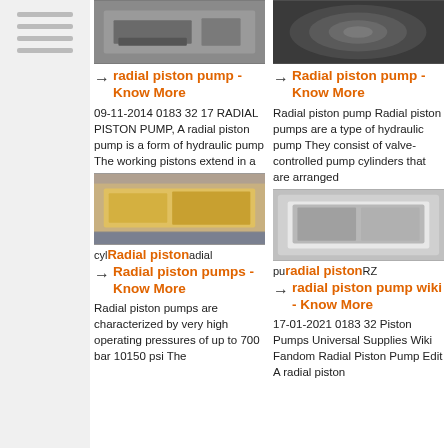[Figure (photo): Industrial machinery photo - top left]
[Figure (photo): Radial piston component photo - top right]
→ radial piston pump - Know More
09-11-2014 0183 32 17 RADIAL PISTON PUMP, A radial piston pump is a form of hydraulic pump The working pistons extend in a
→ Radial piston pump - Know More
Radial piston pump Radial piston pumps are a type of hydraulic pump They consist of valve-controlled pump cylinders that are arranged
[Figure (photo): Yellow conveyor/industrial equipment photo - mid left]
[Figure (photo): Metal duct/enclosure photo - mid right]
→ Radial piston pumps - Know More
Radial piston pumps are characterized by very high operating pressures of up to 700 bar 10150 psi The
→ radial piston pump wiki - Know More
17-01-2021 0183 32 Piston Pumps Universal Supplies Wiki Fandom Radial Piston Pump Edit A radial piston